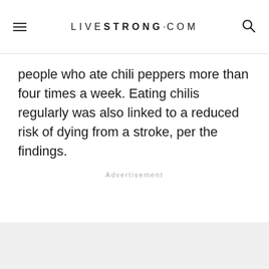LIVESTRONG.COM
people who ate chili peppers more than four times a week. Eating chilis regularly was also linked to a reduced risk of dying from a stroke, per the findings.
Advertisement